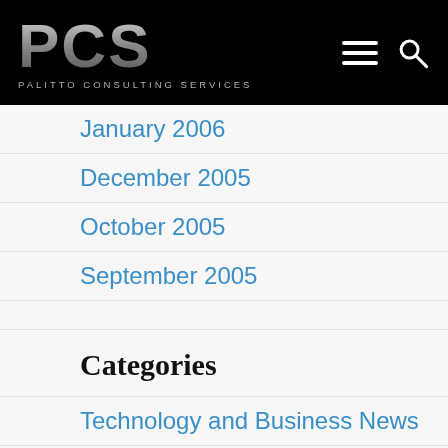PCS PALITTO CONSULTING SERVICES
January 2006
December 2005
October 2005
September 2005
Categories
Technology and Business News
Uncategorized
Meta
Log in